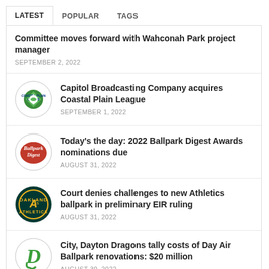LATEST | POPULAR | TAGS
Committee moves forward with Wahconah Park project manager
SEPTEMBER 2, 2022
Capitol Broadcasting Company acquires Coastal Plain League
SEPTEMBER 1, 2022
Today's the day: 2022 Ballpark Digest Awards nominations due
AUGUST 31, 2022
Court denies challenges to new Athletics ballpark in preliminary EIR ruling
AUGUST 31, 2022
City, Dayton Dragons tally costs of Day Air Ballpark renovations: $20 million
AUGUST 30, 2022